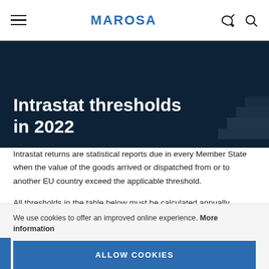MAROSA
Intrastat thresholds in 2022
Intrastat returns are statistical reports due in every Member State when the value of the goods arrived or dispatched from or to another EU country exceed the applicable threshold.
All thresholds in the table below must be calculated annually according to a calendar year. When a business exceeds the
We use cookies to offer an improved online experience. More information
ALLOW COOKIES